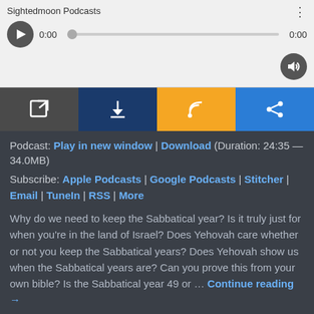[Figure (screenshot): Audio podcast player widget showing 'Sightedmoon Podcasts' title, play button, progress bar at 0:00, volume button, and four action buttons: open in new window (dark), download (navy), RSS (orange), share (blue)]
Podcast: Play in new window | Download (Duration: 24:35 — 34.0MB)
Subscribe: Apple Podcasts | Google Podcasts | Stitcher | Email | TuneIn | RSS | More
Why do we need to keep the Sabbatical year? Is it truly just for when you're in the land of Israel? Does Yehovah care whether or not you keep the Sabbatical years? Does Yehovah show us when the Sabbatical years are? Can you prove this from your own bible? Is the Sabbatical year 49 or … Continue reading →